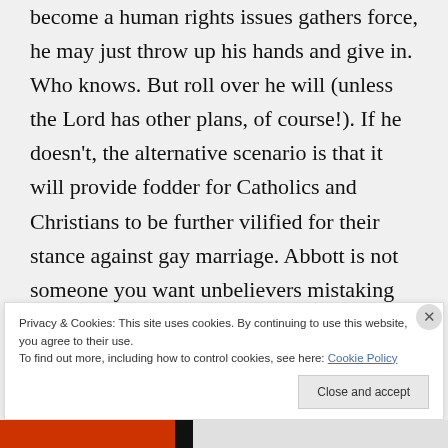become a human rights issues gathers force, he may just throw up his hands and give in. Who knows. But roll over he will (unless the Lord has other plans, of course!). If he doesn't, the alternative scenario is that it will provide fodder for Catholics and Christians to be further vilified for their stance against gay marriage. Abbott is not someone you want unbelievers mistaking for a Christian. Believe me!
Privacy & Cookies: This site uses cookies. By continuing to use this website, you agree to their use. To find out more, including how to control cookies, see here: Cookie Policy
Close and accept